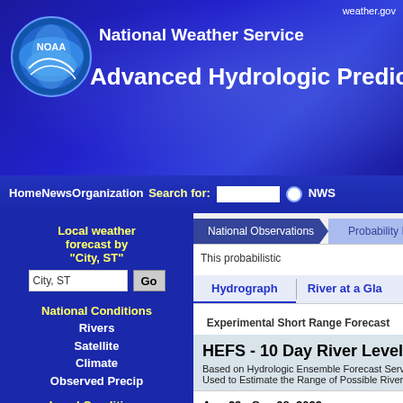weather.gov
National Weather Service
Advanced Hydrologic Prediction Service
Home News Organization Search for: [input] NWS
Local weather forecast by "City, ST"
National Conditions Rivers Satellite Climate Observed Precip
Local Conditions Warnings Weather Forecast Radar
AHPS Documentation User Guide User Brochure
National Observations | Probability Information
This probabilistic
Hydrograph | River at a Glance
Experimental Short Range Forecast
HEFS - 10 Day River Level Prediction
Based on Hydrologic Ensemble Forecast Service Used to Estimate the Range of Possible River Levels
Aug 29 - Sep 08, 2022
PETITESALINE CR at BOONVILLE MO
Observed